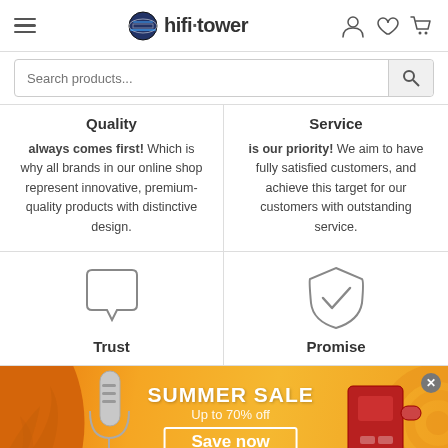hifi·tower — navigation header with hamburger menu, logo, user/wishlist/cart icons
Search products...
Quality
always comes first! Which is why all brands in our online shop represent innovative, premium-quality products with distinctive design.
Service
is our priority! We aim to have fully satisfied customers, and achieve this target for our customers with outstanding service.
[Figure (illustration): Speech bubble / chat icon (outline)]
Trust
[Figure (illustration): Shield with checkmark icon (outline)]
Promise
[Figure (illustration): Summer Sale promotional banner with microphone and coffee machine images. Text: SUMMER SALE, Up to 70% off, Save now]